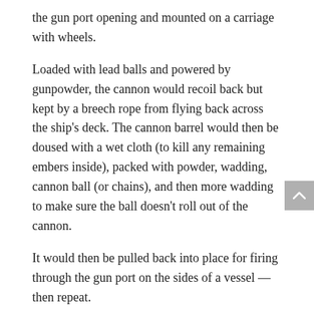the gun port opening and mounted on a carriage with wheels.
Loaded with lead balls and powered by gunpowder, the cannon would recoil back but kept by a breech rope from flying back across the ship's deck. The cannon barrel would then be doused with a wet cloth (to kill any remaining embers inside), packed with powder, wadding, cannon ball (or chains), and then more wadding to make sure the ball doesn't roll out of the cannon.
It would then be pulled back into place for firing through the gun port on the sides of a vessel — then repeat.
Burgener's display also recreates the outside of the ship, up to a decorative railing, complete with holes in the flanks where the ship took fire.